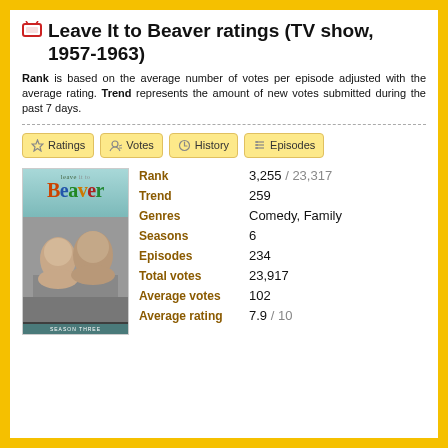Leave It to Beaver ratings (TV show, 1957-1963)
Rank is based on the average number of votes per episode adjusted with the average rating. Trend represents the amount of new votes submitted during the past 7 days.
| Label | Value |
| --- | --- |
| Rank | 3,255 / 23,317 |
| Trend | 259 |
| Genres | Comedy, Family |
| Seasons | 6 |
| Episodes | 234 |
| Total votes | 23,917 |
| Average votes | 102 |
| Average rating | 7.9 / 10 |